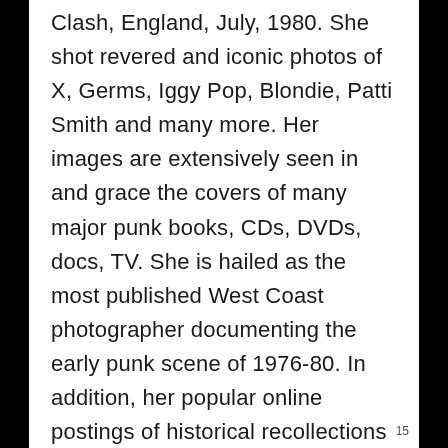Clash, England, July, 1980. She shot revered and iconic photos of X, Germs, Iggy Pop, Blondie, Patti Smith and many more. Her images are extensively seen in and grace the covers of many major punk books, CDs, DVDs, docs, TV. She is hailed as the most published West Coast photographer documenting the early punk scene of 1976-80. In addition, her popular online postings of historical recollections continue to provide accurate first-hand insights into an often under-documented scene, especially
15